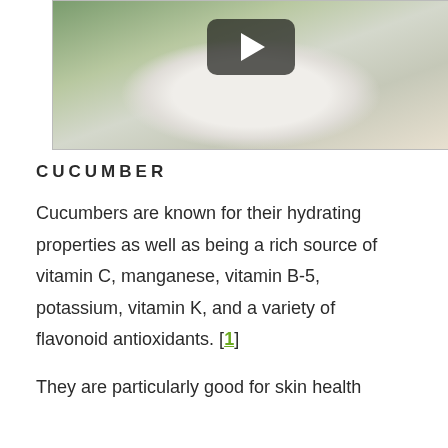[Figure (photo): Video thumbnail showing a white plate with sliced cucumbers, lemon slices, and mint leaves on a marble surface, with a play button overlay in the center]
CUCUMBER
Cucumbers are known for their hydrating properties as well as being a rich source of vitamin C, manganese, vitamin B-5, potassium, vitamin K, and a variety of flavonoid antioxidants. [1]
They are particularly good for skin health